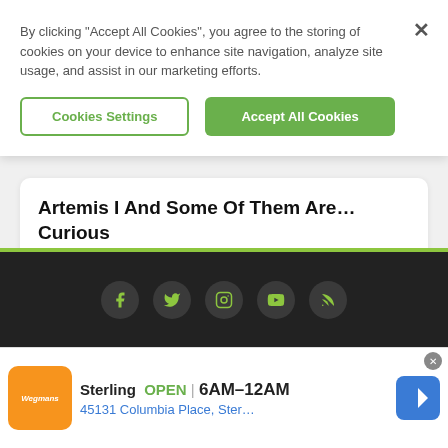By clicking “Accept All Cookies”, you agree to the storing of cookies on your device to enhance site navigation, analyze site usage, and assist in our marketing efforts.
Cookies Settings
Accept All Cookies
Artemis I And Some Of Them Are… Curious
Aug 31 2022
[Figure (screenshot): Social media icons: Facebook, Twitter, Instagram, YouTube, RSS feed in dark circles on dark background footer]
Sterling  OPEN  6AM–12AM
45131 Columbia Place, Ster…